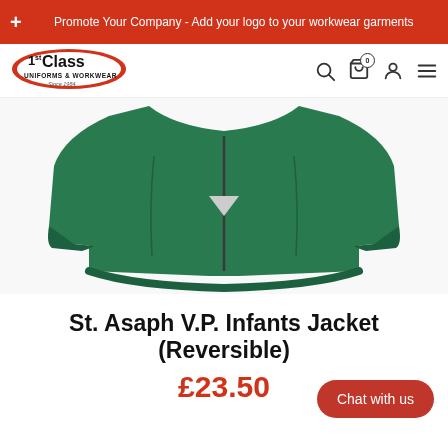Promote Your Company - Add your logo to your workwear garments
[Figure (logo): 1st Class Uniforms & Workwear logo with red oval and 'Since 1984' tagline]
[Figure (photo): Green reversible infant jacket displayed from the front, showing zip and elastic hem]
St. Asaph V.P. Infants Jacket (Reversible)
£23.50